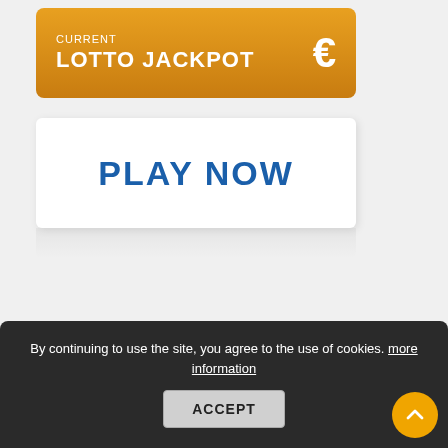[Figure (screenshot): Orange gradient banner showing 'CURRENT LOTTO JACKPOT' with a euro sign on the right]
PLAY NOW
By continuing to use the site, you agree to the use of cookies. more information
ACCEPT